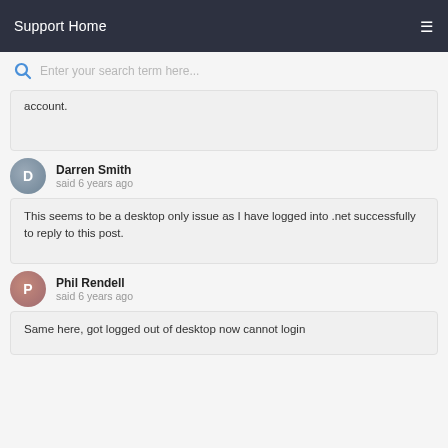Support Home
Enter your search term here...
account.
Darren Smith said 6 years ago
This seems to be a desktop only issue as I have logged into .net successfully to reply to this post.
Phil Rendell said 6 years ago
Same here, got logged out of desktop now cannot login